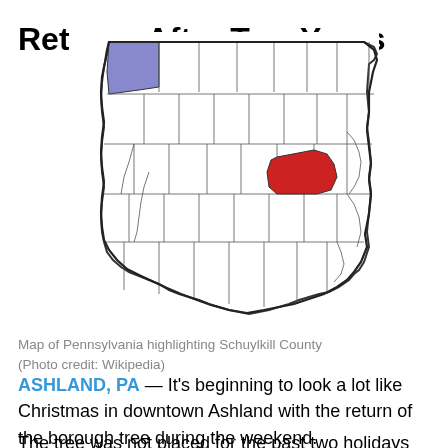Returns After Two Years
[Figure (map): Map of Pennsylvania highlighting Schuylkill County in red, with Erie County in the northwest highlighted in blue/purple.]
Map of Pennsylvania highlighting Schuylkill County (Photo credit: Wikipedia)
ASHLAND, PA — It's beginning to look a lot like Christmas in downtown Ashland with the return of the borough tree during the weekend.
The tree was not placed for the past two holidays due to